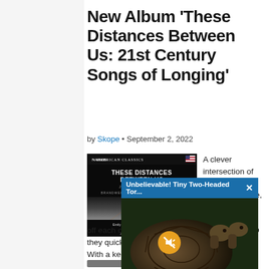New Album 'These Distances Between Us: 21st Century Songs of Longing'
by Skope • September 2, 2022
[Figure (photo): Album cover for 'These Distances Between Us: 21st-Century Songs of Longing' on Naxos American Classics label, featuring Emily Jaworski Koriath, Mezzo-soprano and Tad Koriath, Piano, with a dark highway/road with light streaks at night]
A clever intersection of classical meets the avant-garde, Emily Jaworski Koriath & Tad Koriath develop their own musical
[Figure (screenshot): Video popup overlay showing 'Unbelievable! Tiny Two-Headed Tor...' with a close button X, a muted speaker icon button (yellow/orange circle), and a photo of a two-headed tortoise]
off each other for th... way they quickly wor... textures. With a kee...